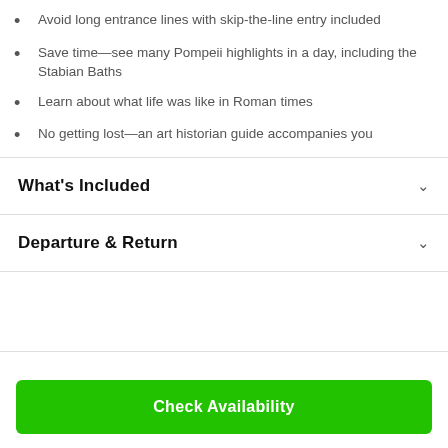Avoid long entrance lines with skip-the-line entry included
Save time—see many Pompeii highlights in a day, including the Stabian Baths
Learn about what life was like in Roman times
No getting lost—an art historian guide accompanies you
What's Included
Departure & Return
Check Availability